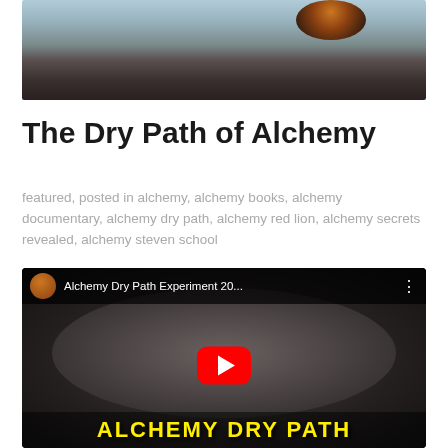[Figure (photo): Close-up photo of a burnt or heated material, dark brown and grey tones with light blue background at top, showing a rounded edge of a crucible or vessel]
The Dry Path of Alchemy
featured, posted in alchemy, alchemy books, alchemy documentary, alchemy dry path, alchemy red lion, alchemy secrets revealed, alchemy steven school
[Figure (screenshot): YouTube video thumbnail titled 'Alchemy Dry Path Experiment 20...' showing a dark granular substance in a pan/crucible, with a red YouTube play button in the center and yellow text 'ALCHEMY DRY PATH' at the bottom]